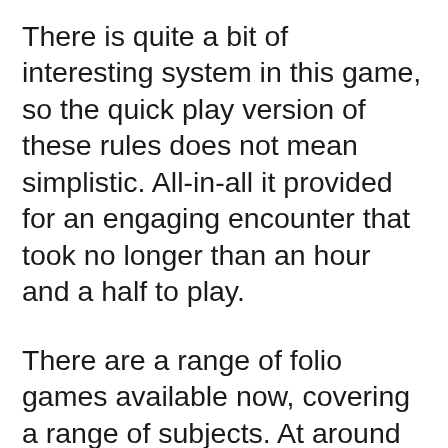There is quite a bit of interesting system in this game, so the quick play version of these rules does not mean simplistic. All-in-all it provided for an engaging encounter that took no longer than an hour and a half to play.
There are a range of folio games available now, covering a range of subjects. At around £9 to £10 they an ideal gaming treat and their compact size makes an ideal vacation type package. I bought mine from Second Chance Games in the UK (see resources).